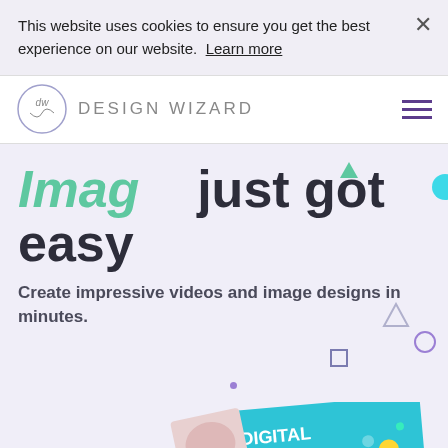This website uses cookies to ensure you get the best experience on our website. Learn more
DESIGN WIZARD
Imag just got easy
Create impressive videos and image designs in minutes.
[Figure (screenshot): Partially visible marketing card showing 'DIGITAL MARKE...' text on a teal/blue background, with another card partially visible]